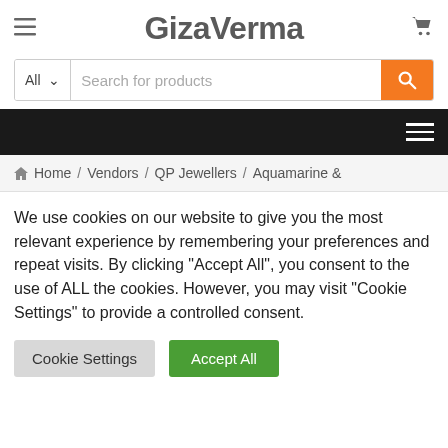GizaVerma
[Figure (screenshot): Search bar with 'All' category dropdown, 'Search for products' placeholder text, and orange search button with magnifying glass icon]
[Figure (screenshot): Black navigation bar with hamburger menu icon on the right]
Home / Vendors / QP Jewellers / Aquamarine &
We use cookies on our website to give you the most relevant experience by remembering your preferences and repeat visits. By clicking "Accept All", you consent to the use of ALL the cookies. However, you may visit "Cookie Settings" to provide a controlled consent.
Cookie Settings   Accept All